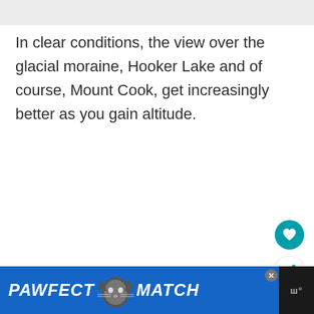[Figure (screenshot): Light grey top bar / header image placeholder area]
In clear conditions, the view over the glacial moraine, Hooker Lake and of course, Mount Cook, get increasingly better as you gain altitude.
[Figure (other): Teal circular favourite/heart button (FAB)]
[Figure (other): White circular share button (FAB) with share icon]
[Figure (other): Advertisement banner: PAWFECT MATCH with cat icon, dark background, close button, and logo]